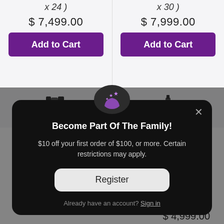x 24 )
x 30 )
$ 7,499.00
$ 7,999.00
Add to Cart
Add to Cart
[Figure (screenshot): E-commerce popup modal on dark background with icon, heading, description, and register button]
Become Part Of The Family!
$10 off your first order of $100, or more. Certain restrictions may apply.
Register
Already have an account? Sign in
$ 4,999.00